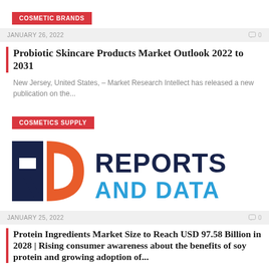COSMETIC BRANDS
JANUARY 26, 2022   🗨 0
Probiotic Skincare Products Market Outlook 2022 to 2031
New Jersey, United States, – Market Research Intellect has released a new publication on the...
COSMETICS SUPPLY
[Figure (logo): Reports and Data logo — dark navy 'RD' lettermark with orange 'D' arc, followed by 'REPORTS AND DATA' in dark navy and blue text]
JANUARY 25, 2022   🗨 0
Protein Ingredients Market Size to Reach USD 97.58 Billion in 2028 | Rising consumer awareness about the benefits of soy protein and growing adoption of...